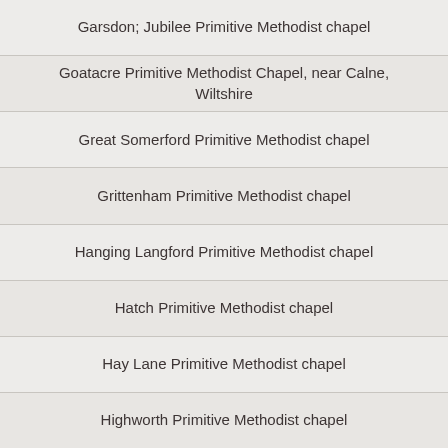Garsdon; Jubilee Primitive Methodist chapel
Goatacre Primitive Methodist Chapel, near Calne, Wiltshire
Great Somerford Primitive Methodist chapel
Grittenham Primitive Methodist chapel
Hanging Langford Primitive Methodist chapel
Hatch Primitive Methodist chapel
Hay Lane Primitive Methodist chapel
Highworth Primitive Methodist chapel